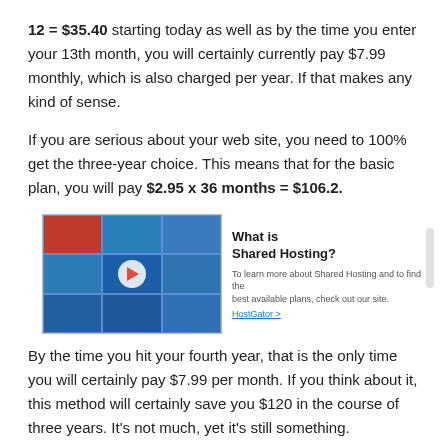12 = $35.40 starting today as well as by the time you enter your 13th month, you will certainly currently pay $7.99 monthly, which is also charged per year. If that makes any kind of sense.
If you are serious about your web site, you need to 100% get the three-year choice. This means that for the basic plan, you will pay $2.95 x 36 months = $106.2.
[Figure (screenshot): Embedded video thumbnail showing 'What is Shared Hosting?' with a grid of people in blue tones and a play button, with a side panel showing the title and description text.]
By the time you hit your fourth year, that is the only time you will certainly pay $7.99 per month. If you think about it, this method will certainly save you $120 in the course of three years. It’s not much, yet it’s still something.
If you intend to get greater than one internet site (which I extremely